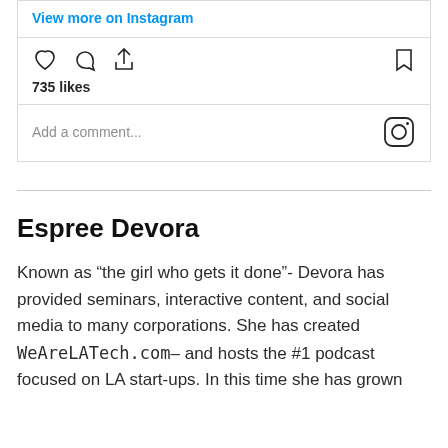View more on Instagram
735 likes
Add a comment...
Espree Devora
Known as “the girl who gets it done”- Devora has provided seminars, interactive content, and social media to many corporations. She has created WeAreLATech.com– and hosts the #1 podcast focused on LA start-ups. In this time she has grown